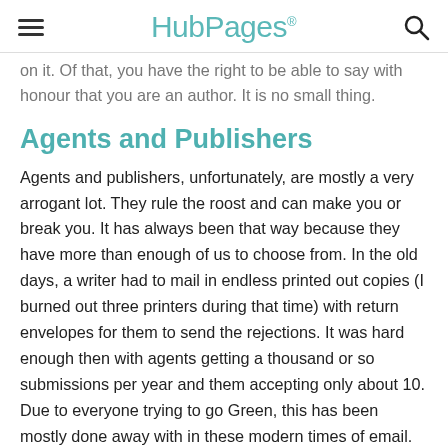HubPages
on it. Of that, you have the right to be able to say with honour that you are an author. It is no small thing.
Agents and Publishers
Agents and publishers, unfortunately, are mostly a very arrogant lot. They rule the roost and can make you or break you. It has always been that way because they have more than enough of us to choose from. In the old days, a writer had to mail in endless printed out copies (I burned out three printers during that time) with return envelopes for them to send the rejections. It was hard enough then with agents getting a thousand or so submissions per year and them accepting only about 10. Due to everyone trying to go Green, this has been mostly done away with in these modern times of email. Unfortunately, the "Green" agents and publishers have caused an immense increase of submissions. Now, every Joe and his auntie is making